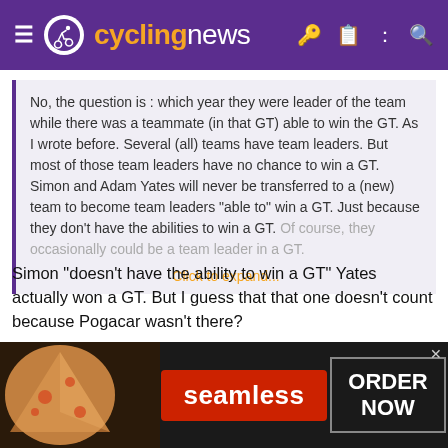cyclingnews
No, the question is : which year they were leader of the team while there was a teammate (in that GT) able to win the GT. As I wrote before. Several (all) teams have team leaders. But most of those team leaders have no chance to win a GT. Simon and Adam Yates will never be transferred to a (new) team to become team leaders "able to" win a GT. Just because they don't have the abilities to win a GT. Of course, they occasionally could be a team leader in a GT.
Click to expand...
Simon "doesn't have the ability to win a GT" Yates actually won a GT. But I guess that that one doesn't count because Pogacar wasn't there?
Sandisfan, ExperienPT, groogster and 1 other person
[Figure (screenshot): Seamless food delivery advertisement banner with pizza image on left, red Seamless button in center, and ORDER NOW box on right]